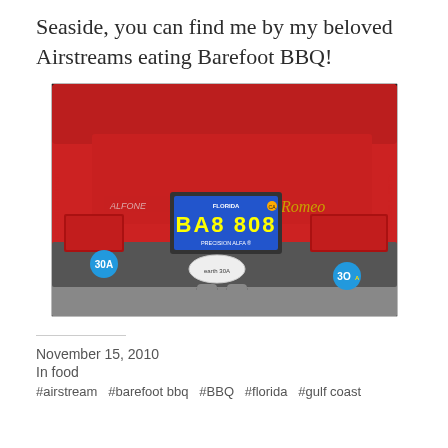Seaside, you can find me by my beloved Airstreams eating Barefoot BBQ!
[Figure (photo): Rear view of a red Alfa Romeo car with a blue Florida license plate reading BA8 808, gray bumper with 30A stickers and a white oval sticker, photographed from a slightly low angle.]
November 15, 2010
In food
#airstream  #barefoot bbq  #BBQ  #florida  #gulf coast